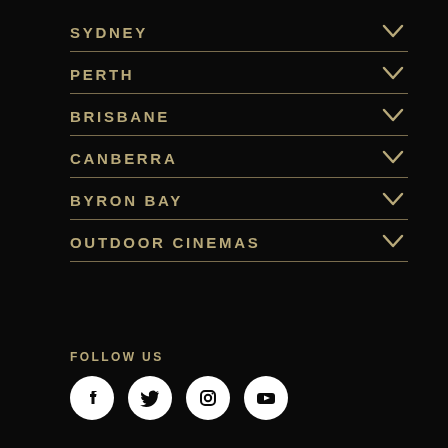SYDNEY
PERTH
BRISBANE
CANBERRA
BYRON BAY
OUTDOOR CINEMAS
FOLLOW US
[Figure (infographic): Social media icons: Facebook, Twitter, Instagram, YouTube — white circles on black background]